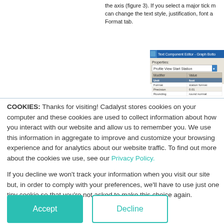the axis (figure 3). If you select a major tick mark, you can change the text style, justification, font a... Format tab.
[Figure (screenshot): Text Component Editor - Graph Bottom window showing Properties dropdown with 'Profile View Start Station' selected, and a table with columns Modifier and Value, showing rows: Unit=foot, Format=station format, Precision=0.01, Rounding=round normal, Decimal character=period '.']
COOKIES: Thanks for visiting! Cadalyst stores cookies on your computer and these cookies are used to collect information about how you interact with our website and allow us to remember you. We use this information in aggregate to improve and customize your browsing experience and for analytics about our website traffic. To find out more about the cookies we use, see our Privacy Policy.
If you decline we won't track your information when you visit our site but, in order to comply with your preferences, we'll have to use just one tiny cookie so that you're not asked to make this choice again.